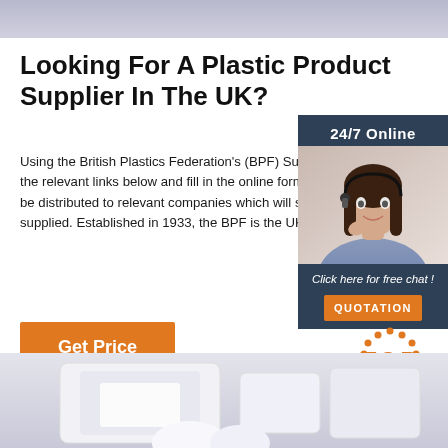[Figure (photo): Light purple/grey banner image at top of page]
Looking For A Plastic Product Supplier In The UK?
Using the British Plastics Federation's (BPF) Supplier service is easy: simply follow the relevant links below and fill in the online form. Once the form is submitted it will be distributed to relevant companies which will shortly contact you via the details supplied. Established in 1933, the BPF is the UK's long...
[Figure (infographic): Sidebar widget with dark blue background, '24/7 Online' text, photo of woman with headset smiling, 'Click here for free chat!' italic text, and orange QUOTATION button]
[Figure (other): Orange 'Get Price' button]
[Figure (logo): TOP badge with orange dots arc above and orange bold TOP text]
[Figure (photo): Bottom image showing white plastic product shapes on light grey/blue background]